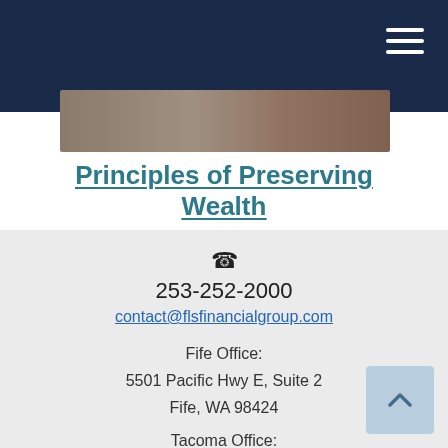FLS Financial Group navigation header
[Figure (photo): Partial photo strip visible below the dark navy header bar]
Principles of Preserving Wealth
How federal estate taxes work, plus estate management documents and tactics.
253-252-2000
contact@flsfinancialgroup.com
Fife Office:
5501 Pacific Hwy E, Suite 2
Fife, WA 98424
Tacoma Office: